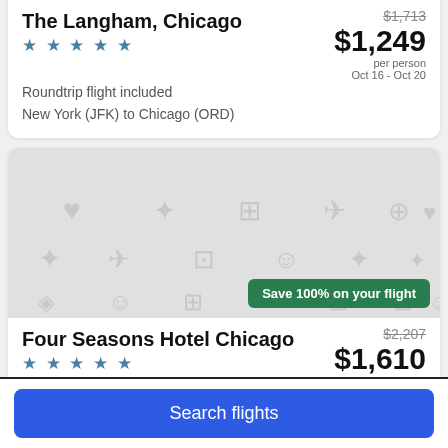The Langham, Chicago
★★★★★
$1,713 (original price), $1,249 per person, Oct 16 - Oct 20
Roundtrip flight included
New York (JFK) to Chicago (ORD)
[Figure (illustration): Placeholder image with gray travel icons on light gray background]
Save 100% on your flight
Four Seasons Hotel Chicago
★★★★★
$2,207 (original price), $1,610
Search flights